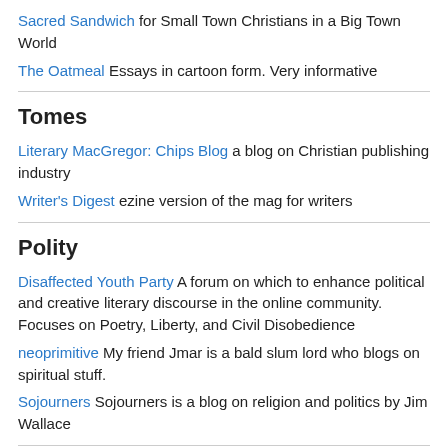Sacred Sandwich for Small Town Christians in a Big Town World
The Oatmeal Essays in cartoon form. Very informative
Tomes
Literary MacGregor: Chips Blog a blog on Christian publishing industry
Writer's Digest ezine version of the mag for writers
Polity
Disaffected Youth Party A forum on which to enhance political and creative literary discourse in the online community. Focuses on Poetry, Liberty, and Civil Disobedience
neoprimitive My friend Jmar is a bald slum lord who blogs on spiritual stuff.
Sojourners Sojourners is a blog on religion and politics by Jim Wallace